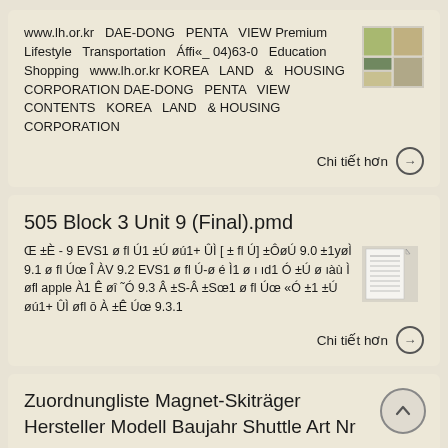www.lh.or.kr DAE-DONG PENTA VIEW Premium Lifestyle Transportation Áffi«_ 04)63-0 Education Shopping www.lh.or.kr KOREA LAND & HOUSING CORPORATION DAE-DONG PENTA VIEW CONTENTS KOREA LAND & HOUSING CORPORATION
Chi tiết hơn →
505 Block 3 Unit 9 (Final).pmd
Œ ±È - 9 EVS1 ø fl Ú1 ±Ú øú1+ ÛÌ [ ± fl Ú] ±ÔøÚ 9.0 ±1yøÌ 9.1 ø fl Úœ Î ÀV 9.2 EVS1 ø fl Ú-ø é Ì1 ø ı ıd1 Ó ±Ú ø ıàù Ì øfl apple À1 Ê øî ˜Ó 9.3 Â ±S-Â ±Sœ1 ø fl Úœ «Ó ±1 ±Ú øú1+ ÛÌ øfl ō À ±Ê Úœ 9.3.1
Chi tiết hơn →
Zuordnungliste Magnet-Skiträger Hersteller Modell Baujahr Shuttle Art Nr